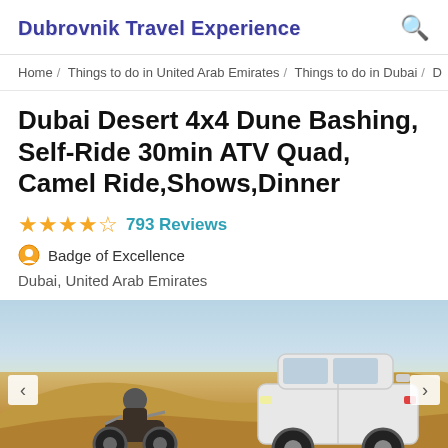Dubrovnik Travel Experience
Home / Things to do in United Arab Emirates / Things to do in Dubai / D
Dubai Desert 4x4 Dune Bashing, Self-Ride 30min ATV Quad, Camel Ride,Shows,Dinner
★★★★½  793 Reviews
Badge of Excellence
Dubai, United Arab Emirates
[Figure (photo): Desert scene with a motorcyclist on an ATV in the foreground and a white Toyota Land Cruiser SUV on the right, against a desert sand dune background with light blue sky. Left and right navigation arrows are visible.]